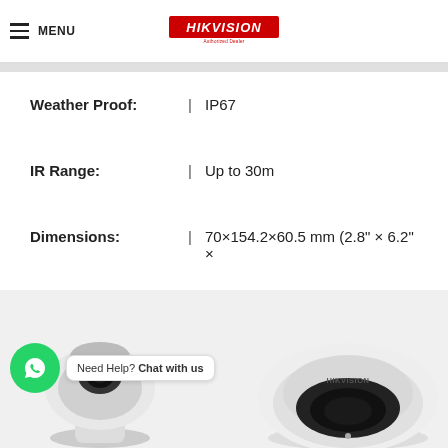MENU | HIKVISION Authorized Dealer
Weather Proof: | IP67
IR Range: | Up to 30m
Dimensions: | 70×154.2×60.5 mm (2.8" × 6.2" ×
Weight: | 500g (1.1lbs)
[Figure (photo): Two Hikvision security cameras: a PT dome camera on the left and a Hikvision-branded fisheye dome camera on the right, with a WhatsApp chat button overlay saying 'Need Help? Chat with us']